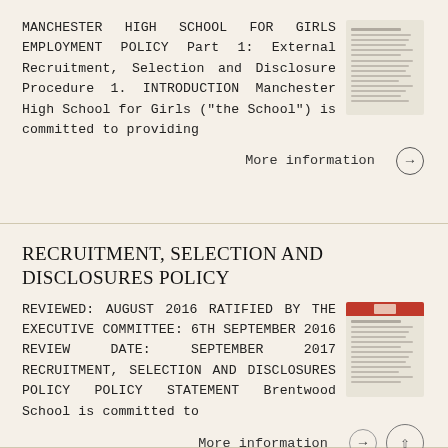MANCHESTER HIGH SCHOOL FOR GIRLS EMPLOYMENT POLICY Part 1: External Recruitment, Selection and Disclosure Procedure 1. INTRODUCTION Manchester High School for Girls ("the School") is committed to providing
More information →
RECRUITMENT, SELECTION AND DISCLOSURES POLICY
REVIEWED: AUGUST 2016 RATIFIED BY THE EXECUTIVE COMMITTEE: 6TH SEPTEMBER 2016 REVIEW DATE: SEPTEMBER 2017 RECRUITMENT, SELECTION AND DISCLOSURES POLICY POLICY STATEMENT Brentwood School is committed to
More information →